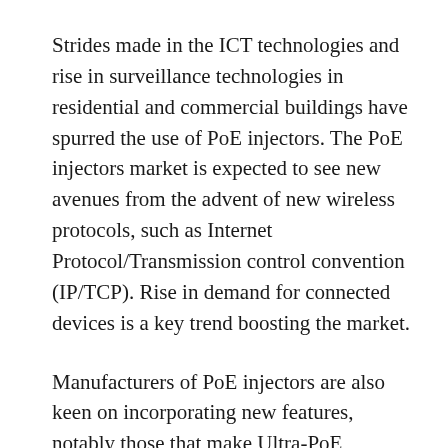Strides made in the ICT technologies and rise in surveillance technologies in residential and commercial buildings have spurred the use of PoE injectors. The PoE injectors market is expected to see new avenues from the advent of new wireless protocols, such as Internet Protocol/Transmission control convention (IP/TCP). Rise in demand for connected devices is a key trend boosting the market.
Manufacturers of PoE injectors are also keen on incorporating new features, notably those that make Ultra-PoE connections possible. This makes it possible to attach a fairly large number of devices. Concomitant advances have